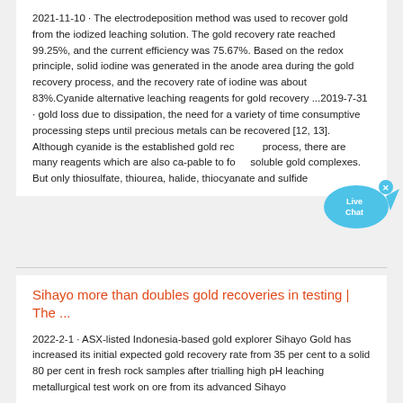2021-11-10 · The electrodeposition method was used to recover gold from the iodized leaching solution. The gold recovery rate reached 99.25%, and the current efficiency was 75.67%. Based on the redox principle, solid iodine was generated in the anode area during the gold recovery process, and the recovery rate of iodine was about 83%.Cyanide alternative leaching reagents for gold recovery ...2019-7-31 · gold loss due to dissipation, the need for a variety of time consumptive processing steps until precious metals can be recovered [12, 13]. Although cyanide is the established gold recovery process, there are many reagents which are also ca-pable to form soluble gold complexes. But only thiosulfate, thiourea, halide, thiocyanate and sulfide
Sihayo more than doubles gold recoveries in testing | The ...
2022-2-1 · ASX-listed Indonesia-based gold explorer Sihayo Gold has increased its initial expected gold recovery rate from 35 per cent to a solid 80 per cent in fresh rock samples after trialling high pH leaching metallurgical test work on ore from its advanced Sihayo